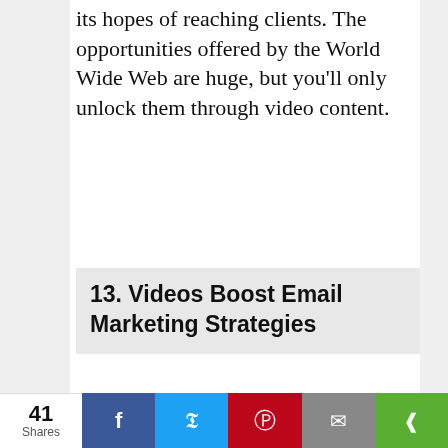its hopes of reaching clients. The opportunities offered by the World Wide Web are huge, but you'll only unlock them through video content.
13. Videos Boost Email Marketing Strategies
[Figure (photo): Chalkboard with 'marketing strategy' written in chalk-style white text on a dark slate background.]
This site uses cookies, some of which are required for its operation. Privacy
41 Shares  [Facebook] [Twitter] [Pinterest] [Email] [Share]